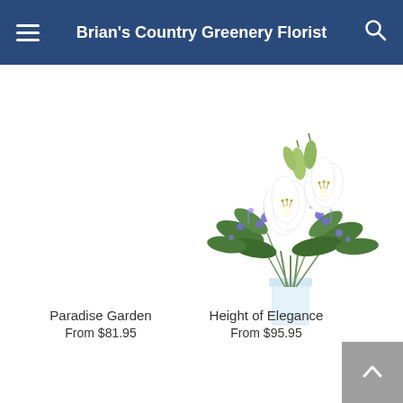Brian's Country Greenery Florist
Same Day Delivery ends in: 01 : 11 : 27
[Figure (photo): Floral arrangement called Height of Elegance featuring white lilies, purple flowers, and green foliage in a tall clear glass vase]
Paradise Garden
From $81.95
Height of Elegance
From $95.95